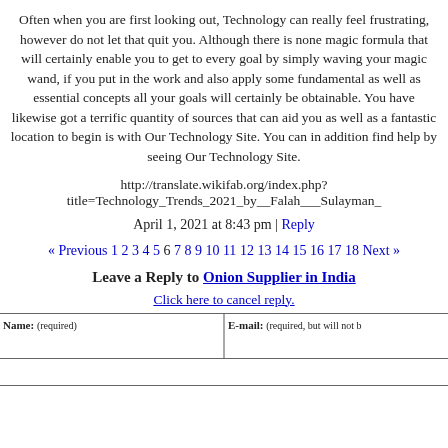Often when you are first looking out, Technology can really feel frustrating, however do not let that quit you. Although there is none magic formula that will certainly enable you to get to every goal by simply waving your magic wand, if you put in the work and also apply some fundamental as well as essential concepts all your goals will certainly be obtainable. You have likewise got a terrific quantity of sources that can aid you as well as a fantastic location to begin is with Our Technology Site. You can in addition find help by seeing Our Technology Site.
http://translate.wikifab.org/index.php?title=Technology_Trends_2021_by__Falah___Sulayman_
April 1, 2021 at 8:43 pm | Reply
« Previous 1 2 3 4 5 6 7 8 9 10 11 12 13 14 15 16 17 18 Next »
Leave a Reply to Onion Supplier in India
Click here to cancel reply.
| Name: (required) | E-mail: (required, but will not… |
| --- | --- |
|  |  |